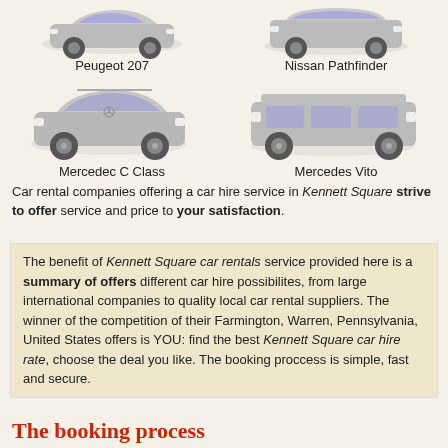[Figure (photo): Two car images at top: Peugeot 207 (left) and Nissan Pathfinder (right)]
Peugeot 207
Nissan Pathfinder
[Figure (photo): Two car images: Mercedec C Class (left) and Mercedes Vito (right)]
Mercedec C Class
Mercedes Vito
Car rental companies offering a car hire service in Kennett Square strive to offer service and price to your satisfaction.
The benefit of Kennett Square car rentals service provided here is a summary of offers different car hire possibilites, from large international companies to quality local car rental suppliers. The winner of the competition of their Farmington, Warren, Pennsylvania, United States offers is YOU: find the best Kennett Square car hire rate, choose the deal you like. The booking proccess is simple, fast and secure.
The booking process